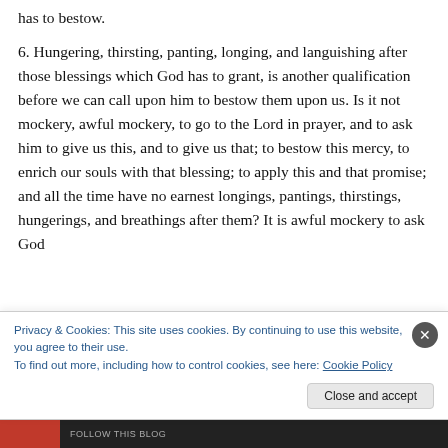has to bestow.
6. Hungering, thirsting, panting, longing, and languishing after those blessings which God has to grant, is another qualification before we can call upon him to bestow them upon us. Is it not mockery, awful mockery, to go to the Lord in prayer, and to ask him to give us this, and to give us that; to bestow this mercy, to enrich our souls with that blessing; to apply this and that promise; and all the time have no earnest longings, pantings, thirstings, hungerings, and breathings after them? It is awful mockery to ask God
Privacy & Cookies: This site uses cookies. By continuing to use this website, you agree to their use.
To find out more, including how to control cookies, see here: Cookie Policy